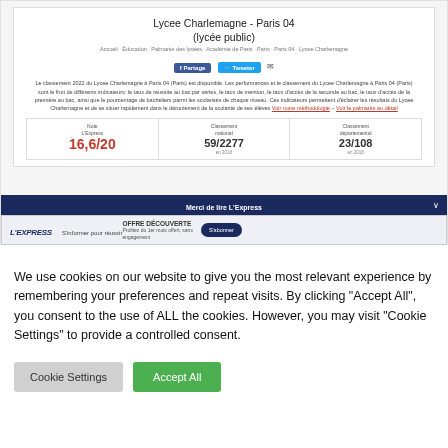Lycee Charlemagne - Paris 04 (lycée public)
Le classement 2022 du Lycee Charlemagne à Paris 04 (Paris) est disponible. Les performances et le classement du Lycee Charlemagne à Paris 04 (Paris) sont le fruit de différents indicateurs: le taux de réussite au bac par séries, le taux de mention, le taux d'accès de la seconde au bac, le taux d'accès de la première au bac, ainsi que le pourcentage de bacheliers parmi les scolarisés de chaque niveau. Ces indicateurs permettent d'éclairer les résultats du Lycee Charlemagne et de se situer rapidement dans le déroulement de la scolarité de ses élèves.
| Note L'Express | Classement national | Classement départemental |
| --- | --- | --- |
| 16,6/20 | 59/2277 | 23/108 |
Merci de lire L'Express
L'EXPRESS — S'informer pour réussir — OFFRE DÉCOUVERTE Profitez du 1er mois offert, sans engagement
We use cookies on our website to give you the most relevant experience by remembering your preferences and repeat visits. By clicking "Accept All", you consent to the use of ALL the cookies. However, you may visit "Cookie Settings" to provide a controlled consent.
Cookie Settings
Accept All